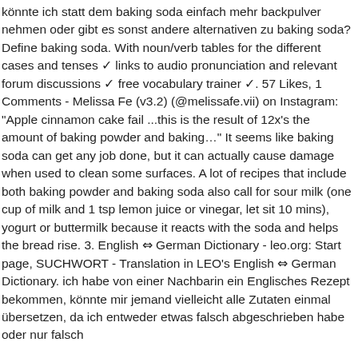könnte ich statt dem baking soda einfach mehr backpulver nehmen oder gibt es sonst andere alternativen zu baking soda? Define baking soda. With noun/verb tables for the different cases and tenses ✓ links to audio pronunciation and relevant forum discussions ✓ free vocabulary trainer ✓. 57 Likes, 1 Comments - Melissa Fe (v3.2) (@melissafe.vii) on Instagram: "Apple cinnamon cake fail ...this is the result of 12x's the amount of baking powder and baking..." It seems like baking soda can get any job done, but it can actually cause damage when used to clean some surfaces. A lot of recipes that include both baking powder and baking soda also call for sour milk (one cup of milk and 1 tsp lemon juice or vinegar, let sit 10 mins), yogurt or buttermilk because it reacts with the soda and helps the bread rise. 3. English ⇔ German Dictionary - leo.org: Start page, SUCHWORT - Translation in LEO's English ⇔ German Dictionary. ich habe von einer Nachbarin ein Englisches Rezept bekommen, könnte mir jemand vielleicht alle Zutaten einmal übersetzen, da ich entweder etwas falsch abgeschrieben habe oder nur falsch